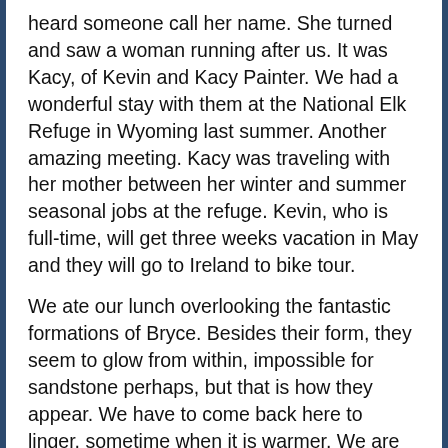heard someone call her name. She turned and saw a woman running after us. It was Kacy, of Kevin and Kacy Painter. We had a wonderful stay with them at the National Elk Refuge in Wyoming last summer. Another amazing meeting. Kacy was traveling with her mother between her winter and summer seasonal jobs at the refuge. Kevin, who is full-time, will get three weeks vacation in May and they will go to Ireland to bike tour.
We ate our lunch overlooking the fantastic formations of Bryce. Besides their form, they seem to glow from within, impossible for sandstone perhaps, but that is how they appear. We have to come back here to linger, sometime when it is warmer. We are rushing a little now. We have a 9,400 foot elevation pass to get over before a series of storms come through, so we have to keep moving now.
Sixty-six miles today and lots of climbing. Toward the end we had a 12 percent grade for a mile, which was equal to the worst we had in West Virginia and Kentucky. We're freelance camping again tonight in Dixie National Forest. Quesadillas with turkey slices, a can of baked beans and oranges. Yum. Oh my, how we feast.
The next day into Boulder was only 43 miles, but